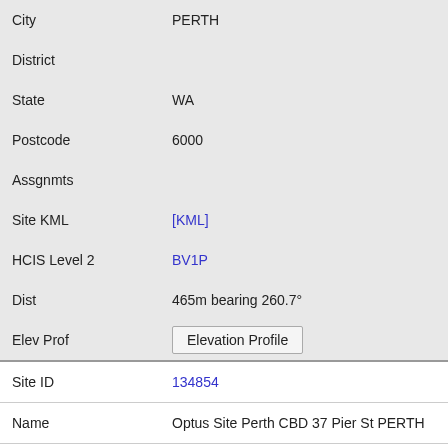| Field | Value |
| --- | --- |
| City | PERTH |
| District |  |
| State | WA |
| Postcode | 6000 |
| Assgnmts |  |
| Site KML | [KML] |
| HCIS Level 2 | BV1P |
| Dist | 465m bearing 260.7° |
| Elev Prof | Elevation Profile |
| Site ID | 134854 |
| Name | Optus Site Perth CBD 37 Pier St PERTH |
| City | PERTH |
| District |  |
| State | WA |
| Postcode | 6000 |
| Assgnmts | 2 |